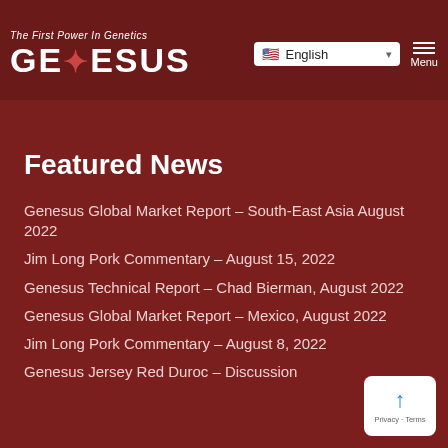The First Power In Genetics — GENESUS | English | Menu
Featured News
Genesus Global Market Report – South-East Asia August 2022
Jim Long Pork Commentary – August 15, 2022
Genesus Technical Report – Chad Bierman, August 2022
Genesus Global Market Report – Mexico, August 2022
Jim Long Pork Commentary – August 8, 2022
Genesus Jersey Red Duroc – Discussion